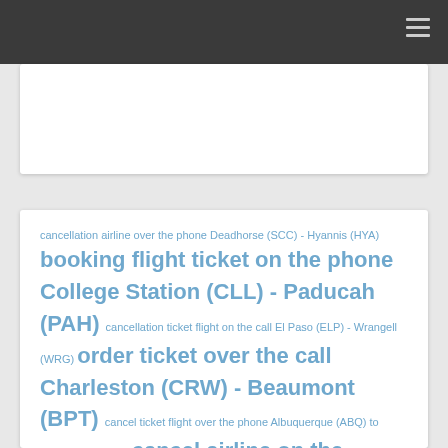[Figure (screenshot): Dark top navigation bar with hamburger menu icon on the right]
[Figure (screenshot): White card placeholder at top of page content area]
cancellation airline over the phone Deadhorse (SCC) - Hyannis (HYA) booking flight ticket on the phone College Station (CLL) - Paducah (PAH) cancellation ticket flight on the call El Paso (ELP) - Wrangell (WRG) order ticket over the call Charleston (CRW) - Beaumont (BPT) cancel ticket flight over the phone Albuquerque (ABQ) to Devils Lake (DVL) cancel airline on the phone Owensboro (OWB) to